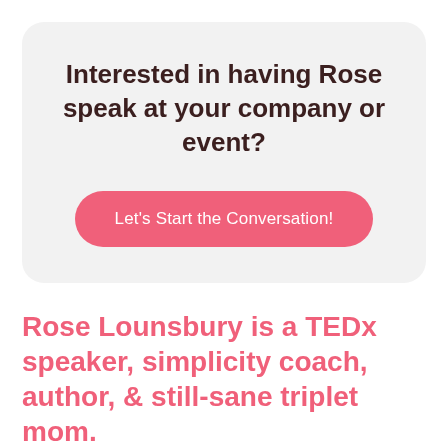Interested in having Rose speak at your company or event?
Let's Start the Conversation!
Rose Lounsbury is a TEDx speaker, simplicity coach, author, & still-sane triplet mom.